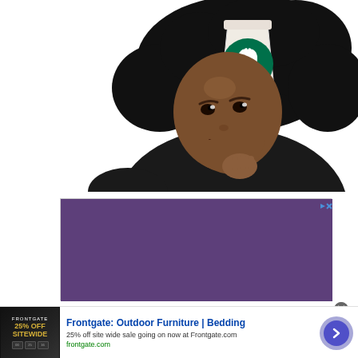[Figure (illustration): A bald Black man in a black shirt with his hand raised to his chin in a thinking pose. Above him is a black thought bubble cloud containing a Starbucks white cup with the green Starbucks logo. Two small black circles connect the thought bubble to the man.]
[Figure (other): A solid purple/violet rectangle advertisement banner with small play and close icons in the top right corner.]
[Figure (other): Bottom advertisement for Frontgate: Outdoor Furniture | Bedding. Shows a thumbnail with '25% OFF SITEWIDE' text on dark background, title 'Frontgate: Outdoor Furniture | Bedding', description '25% off site wide sale going on now at Frontgate.com', URL 'frontgate.com', a circular arrow button on the right, a close X button, and AdChoices icon.]